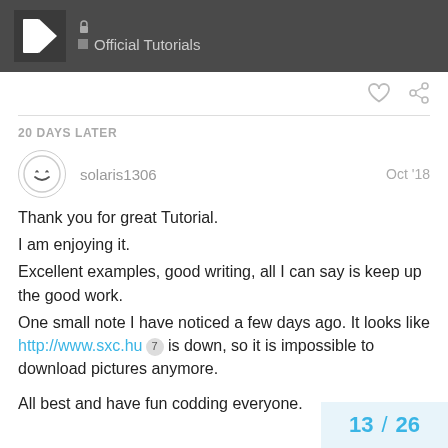Official Tutorials
20 DAYS LATER
solaris1306   Oct '18
Thank you for great Tutorial.
I am enjoying it.
Excellent examples, good writing, all I can say is keep up the good work.
One small note I have noticed a few days ago. It looks like http://www.sxc.hu 7 is down, so it is impossible to download pictures anymore.

All best and have fun codding everyone.
13 / 26